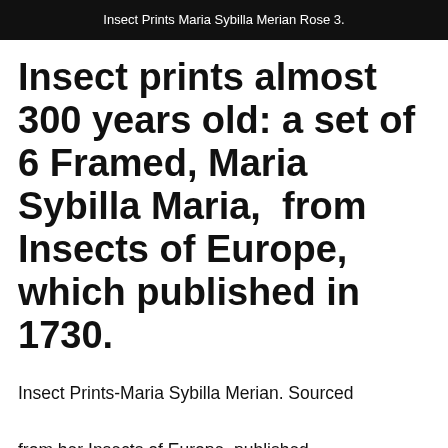Insect Prints Maria Sybilla Merian Rose 3.
Insect prints almost 300 years old: a set of 6 Framed, Maria Sybilla Maria,  from Insects of Europe, which published in 1730.
Insect Prints-Maria Sybilla Merian. Sourced from her Insects of Europe, published